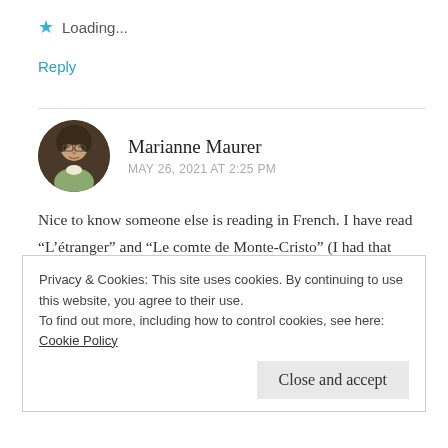★ Loading...
Reply
Marianne Maurer
MAY 26, 2021 AT 2:25 PM
Nice to know someone else is reading in French. I have read "L'étranger" and "Le comte de Monte-Cristo" (I had that exact same edition, I believe).
Privacy & Cookies: This site uses cookies. By continuing to use this website, you agree to their use.
To find out more, including how to control cookies, see here: Cookie Policy
Close and accept